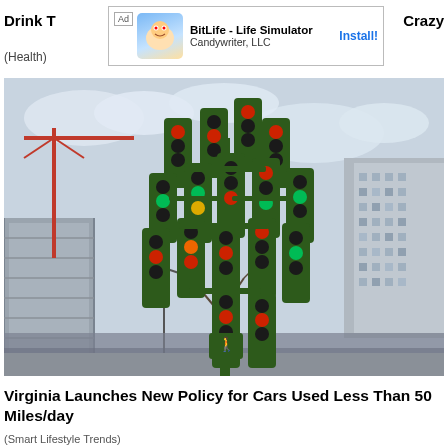[Figure (screenshot): Advertisement banner for BitLife - Life Simulator by Candywriter, LLC with Install button]
Drink T
Crazy
(Health)
[Figure (photo): Photo of a large cluster of traffic lights mounted on a single pole, resembling a tree, with city buildings and a construction crane in the background]
Virginia Launches New Policy for Cars Used Less Than 50 Miles/day
(Smart Lifestyle Trends)